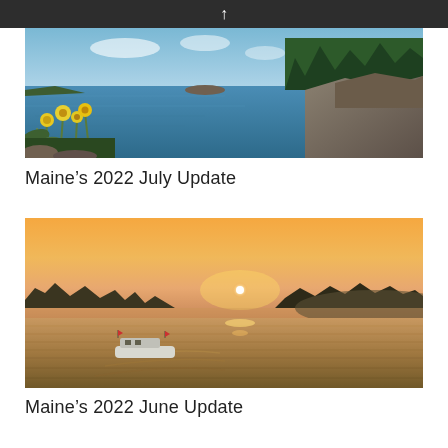[Figure (photo): Landscape photo of a lake or bay in Maine with yellow wildflowers in the foreground, rocky shore on the right, trees in background, blue sky with light clouds]
Maine’s 2022 July Update
[Figure (photo): Photo of a boat on a calm lake at sunset with warm orange and pink sky, boat creating wake on water, treeline silhouette in background]
Maine’s 2022 June Update